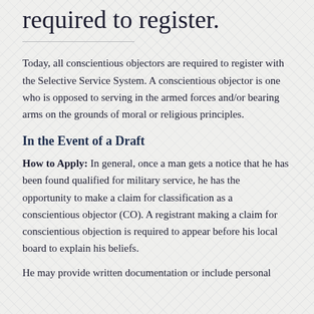required to register.
Today, all conscientious objectors are required to register with the Selective Service System. A conscientious objector is one who is opposed to serving in the armed forces and/or bearing arms on the grounds of moral or religious principles.
In the Event of a Draft
How to Apply: In general, once a man gets a notice that he has been found qualified for military service, he has the opportunity to make a claim for classification as a conscientious objector (CO). A registrant making a claim for conscientious objection is required to appear before his local board to explain his beliefs.
He may provide written documentation or include personal